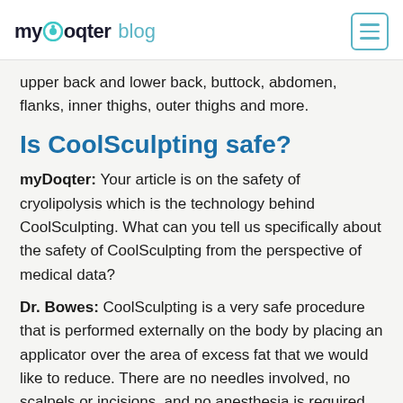myDoqter blog
upper back and lower back, buttock, abdomen, flanks, inner thighs, outer thighs and more.
Is CoolSculpting safe?
myDoqter: Your article is on the safety of cryolipolysis which is the technology behind CoolSculpting. What can you tell us specifically about the safety of CoolSculpting from the perspective of medical data?
Dr. Bowes: CoolSculpting is a very safe procedure that is performed externally on the body by placing an applicator over the area of excess fat that we would like to reduce. There are no needles involved, no scalpels or incisions, and no anesthesia is required